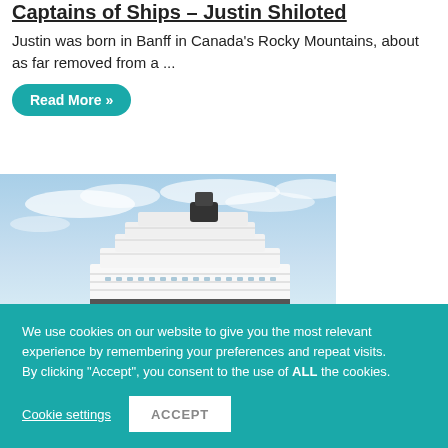Captains of Ships – Justin Shiloted
Justin was born in Banff in Canada's Rocky Mountains, about as far removed from a ...
Read More »
[Figure (photo): A large modern white cruise ship on calm blue water under a partly cloudy sky, viewed from a low angle at the bow.]
We use cookies on our website to give you the most relevant experience by remembering your preferences and repeat visits.
By clicking "Accept", you consent to the use of ALL the cookies.
Cookie settings
ACCEPT